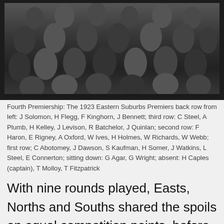[Figure (photo): Black and white historical group photograph of the 1923 Eastern Suburbs rugby league premiers, showing multiple rows of players posed together.]
Fourth Premiership: The 1923 Eastern Suburbs Premiers back row from left: J Solomon, H Flegg, F Kinghorn, J Bennett; third row: C Steel, A Plumb, H Kelley, J Levison, R Batchelor, J Quinlan; second row: F Haron, E Rigney, A Oxford, W Ives, H Holmes, W Richards, W Webb; first row; C Abotomey, J Dawson, S Kaufman, H Somer, J Watkins, L Steel, E Connerton; sitting down: G Agar, G Wright; absent: H Caples (captain), T Molloy, T Fitzpatrick
With nine rounds played, Easts, Norths and Souths shared the spoils on equal competition points, before North Sydney fell away in the later rounds along with the Red, White and Bl...